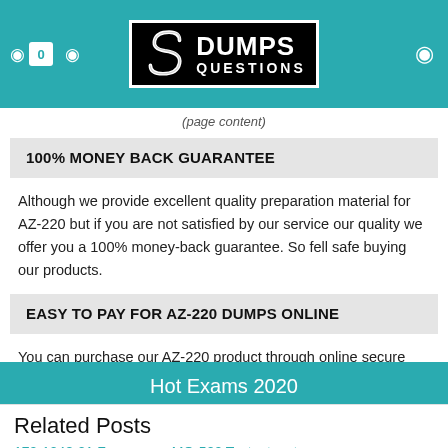Dumps Questions — 0
100% MONEY BACK GUARANTEE
Although we provide excellent quality preparation material for AZ-220 but if you are not satisfied by our service our quality we offer you a 100% money-back guarantee. So fell safe buying our products.
EASY TO PAY FOR AZ-220 DUMPS ONLINE
You can purchase our AZ-220 product through online secure payment methods, like as Credit Cards, Visa, Master Cards, American Express, and Discover.
Hot Exams 2020
Related Posts
170-1048-21 Fragen    MO-500 Testantworten